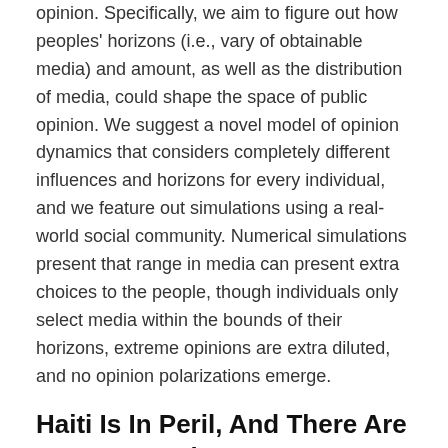opinion. Specifically, we aim to figure out how peoples' horizons (i.e., vary of obtainable media) and amount, as well as the distribution of media, could shape the space of public opinion. We suggest a novel model of opinion dynamics that considers completely different influences and horizons for every individual, and we feature out simulations using a real-world social community. Numerical simulations present that range in media can present extra choices to the people, though individuals only select media within the bounds of their horizons, extreme opinions are extra diluted, and no opinion polarizations emerge.
Haiti Is In Peril, And There Are No Easy Options
We present that choice trading is generally driven by differences of opinion, a discovering different from the present literature that attempts to attribute option trading to info asymmetry. First, option buying and selling round earnings bulletins is correlated to a discovering all